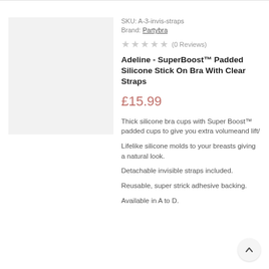[Figure (photo): Light grey product image placeholder box]
SKU: A-3-invis-straps
Brand: Partybra
★★★★★ (0 Reviews)
Adeline - SuperBoost™ Padded Silicone Stick On Bra With Clear Straps
£15.99
Thick silicone bra cups with Super Boost™ padded cups to give you extra volumeand lift/
Lifelike silicone molds to your breasts giving a natural look.
Detachable invisible straps included.
Reusable, super strick adhesive backing.
Available in A to D.